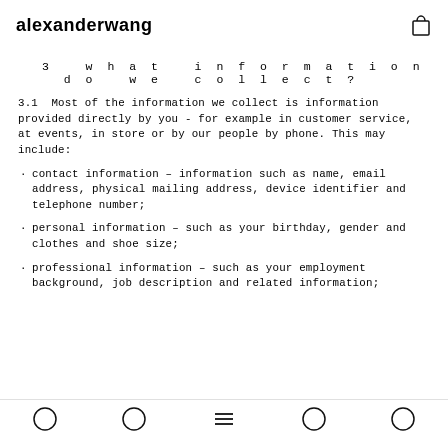alexanderwang
3   what information do we collect?
3.1  Most of the information we collect is information provided directly by you - for example in customer service, at events, in store or by our people by phone. This may include:
contact information – information such as name, email address, physical mailing address, device identifier and telephone number;
personal information – such as your birthday, gender and clothes and shoe size;
professional information – such as your employment background, job description and related information;
navigation icons: home, categories, menu, search, profile